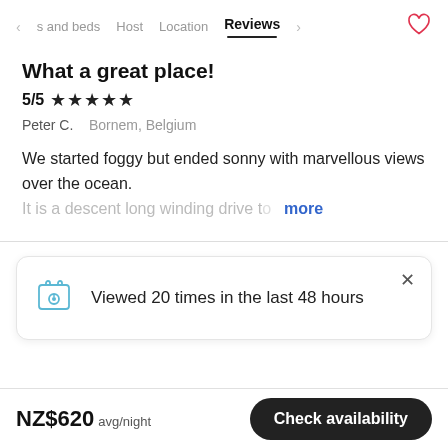< s and beds   Host   Location   Reviews   >  ♡
What a great place!
5/5 ★★★★★
Peter C.  Bornem, Belgium
We started foggy but ended sonny with marvellous views over the ocean.
It is a descent long winding drive to... more
Viewed 20 times in the last 48 hours
NZ$620 avg/night   Check availability